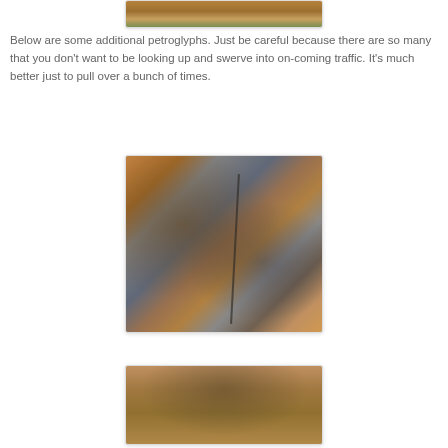[Figure (photo): Top portion of a photo showing desert landscape with sandy/rocky ground and sparse vegetation at the top edge]
Below are some additional petroglyphs. Just be careful because there are so many that you don't want to be looking up and swerve into on-coming traffic. It's much better just to pull over a bunch of times.
[Figure (photo): Close-up photograph of petroglyphs carved into reddish-brown sandstone rock surface, showing ancient rock art with a large crack/joint running diagonally through the rock]
[Figure (photo): Partial view of another petroglyph photograph showing reddish-brown rock surface at the bottom of the page]